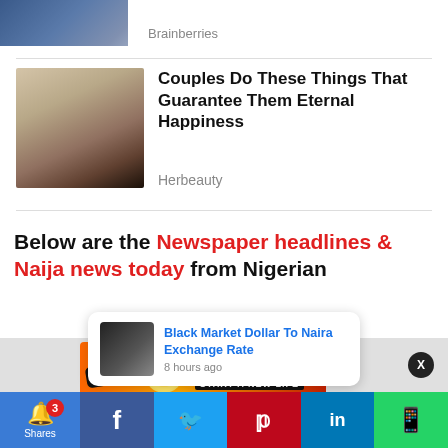[Figure (photo): Partial top article with image of person with arms raised at crowd, source: Brainberries]
Brainberries
[Figure (photo): Close-up photo of person's neck/ear with chain jewelry]
Couples Do These Things That Guarantee Them Eternal Happiness
Herbeauty
Below are the Newspaper headlines & Naija news today from Nigerian
[Figure (screenshot): BitLife advertisement banner: FAIL text, anime character, fire, BitLife logo, START A NEW LIFE text]
[Figure (screenshot): Notification popup: Black Market Dollar To Naira Exchange Rate, 8 hours ago]
[Figure (screenshot): Bottom social share bar: bell with 3 badge, Shares, Facebook, Twitter, Pinterest, LinkedIn, WhatsApp]